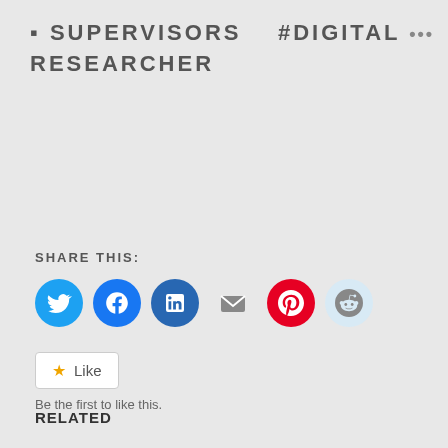▪ SUPERVISORS   #DIGITAL ... RESEARCHER
SHARE THIS:
[Figure (infographic): Row of social share icon buttons: Twitter (blue circle), Facebook (blue circle), LinkedIn (blue circle), Email (envelope), Pinterest (red circle), Reddit (light blue circle)]
Like  Be the first to like this.
RELATED